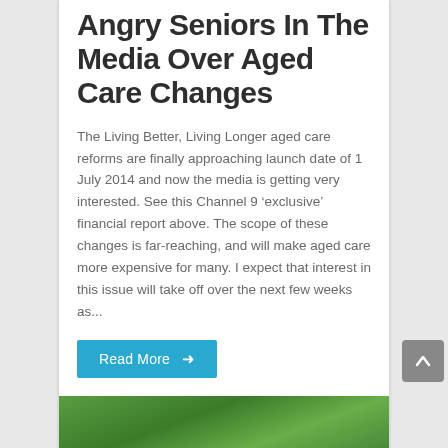Angry Seniors In The Media Over Aged Care Changes
The Living Better, Living Longer aged care reforms are finally approaching launch date of 1 July 2014 and now the media is getting very interested. See this Channel 9 ‘exclusive’ financial report above. The scope of these changes is far-reaching, and will make aged care more expensive for many. I expect that interest in this issue will take off over the next few weeks as...
Read More →
[Figure (photo): Bottom portion of a green leafy nature/garden photo, partially visible at the bottom of the page]